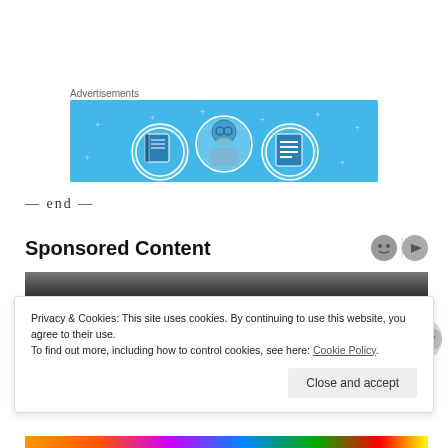Advertisements
[Figure (illustration): Advertisement banner with light blue background showing three circular icons: a notebook, a person with glasses, and a document/list, arranged side by side]
— end —
Sponsored Content
[Figure (photo): Dark gradient image strip, partial view of sponsored content image]
Privacy & Cookies: This site uses cookies. By continuing to use this website, you agree to their use.
To find out more, including how to control cookies, see here: Cookie Policy
Close and accept